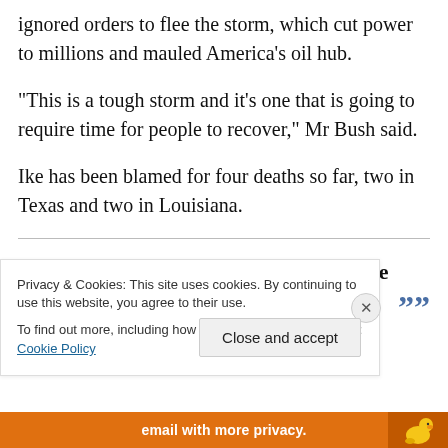ignored orders to flee the storm, which cut power to millions and mauled America’s oil hub.
“This is a tough storm and it’s one that is going to require time for people to recover,” Mr Bush said.
Ike has been blamed for four deaths so far, two in Texas and two in Louisiana.
““ What’s really frustrating is that we can’t get to them ””
Privacy & Cookies: This site uses cookies. By continuing to use this website, you agree to their use.
To find out more, including how to control cookies, see here: Cookie Policy
Close and accept
email with more privacy.